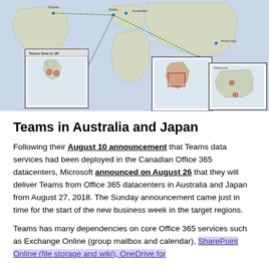[Figure (map): World map showing Microsoft Teams datacenter locations with inset maps highlighting UK region and Australia/Japan regions. Lines connect various datacenter locations including Toronto, Dublin, Amsterdam, Singapore, Hong Kong, and others. Inset boxes show Teams Data in UK with detail map of British Isles, and detail map of India/South Asia region, and detail map of Australia.]
Teams in Australia and Japan
Following their August 10 announcement that Teams data services had been deployed in the Canadian Office 365 datacenters, Microsoft announced on August 26 that they will deliver Teams from Office 365 datacenters in Australia and Japan from August 27, 2018. The Sunday announcement came just in time for the start of the new business week in the target regions.
Teams has many dependencies on core Office 365 services such as Exchange Online (group mailbox and calendar), SharePoint Online (file storage and wiki), OneDrive for